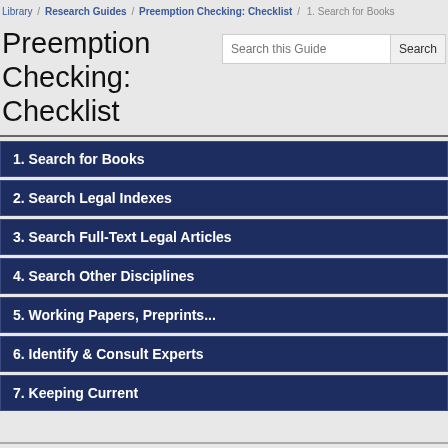Library / Research Guides / Preemption Checking: Checklist / 1. Search for Books
Preemption Checking: Checklist
1. Search for Books
2. Search Legal Indexes
3. Search Full-Text Legal Articles
4. Search Other Disciplines
5. Working Papers, Preprints...
6. Identify & Consult Experts
7. Keeping Current
1. Search for Books